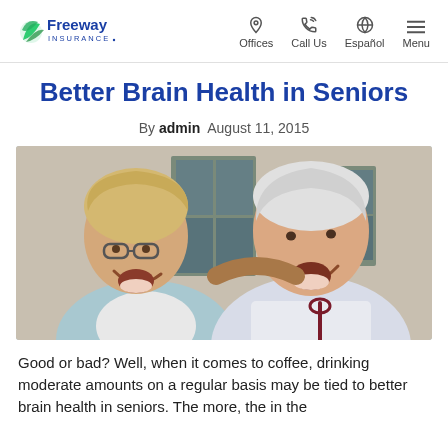Freeway Insurance — Offices | Call Us | Español | Menu
Better Brain Health in Seniors
By admin  August 11, 2015
[Figure (photo): Two senior women laughing and smiling together indoors, one with blonde hair wearing glasses and a light blue cardigan, the other with short white hair holding glasses, wearing a white blouse.]
Good or bad? Well, when it comes to coffee, drinking moderate amounts on a regular basis may be tied to better brain health in seniors. The more, the in the